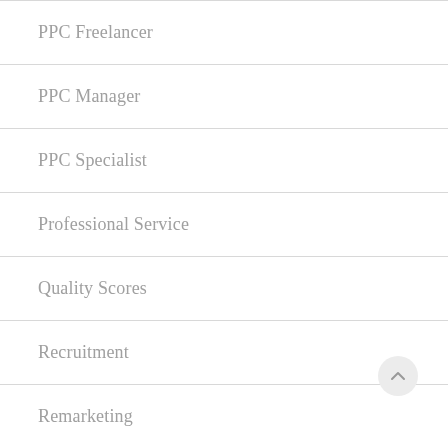PPC Freelancer
PPC Manager
PPC Specialist
Professional Service
Quality Scores
Recruitment
Remarketing
Responsive Search Ads